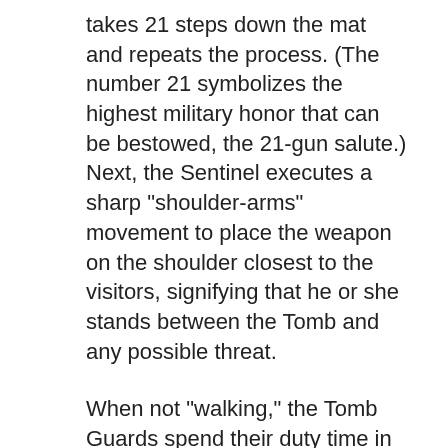takes 21 steps down the mat and repeats the process. (The number 21 symbolizes the highest military honor that can be bestowed, the 21-gun salute.) Next, the Sentinel executes a sharp "shoulder-arms" movement to place the weapon on the shoulder closest to the visitors, signifying that he or she stands between the Tomb and any possible threat.
When not "walking," the Tomb Guards spend their duty time in quarters below the Memorial Display Room of the Memorial Amphitheater, where they study cemetery history,clean their weapons and help the rest of their relief prepare for the changing of the guard.
Sentinels of the Tomb of the Unknown Soldier